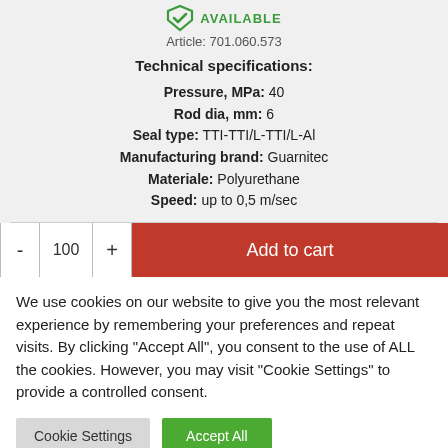[Figure (logo): Green shield/availability badge icon with checkmark]
AVAILABLE
Article: 701.060.573
Technical specifications:
Pressure, MPa: 40
Rod dia, mm: 6
Seal type: TTI-TTI/L-TTI/L-Al
Manufacturing brand: Guarnitec
Materiale: Polyurethane
Speed: up to 0,5 m/sec
- 100 +   Add to cart
We use cookies on our website to give you the most relevant experience by remembering your preferences and repeat visits. By clicking "Accept All", you consent to the use of ALL the cookies. However, you may visit "Cookie Settings" to provide a controlled consent.
Cookie Settings
Accept All